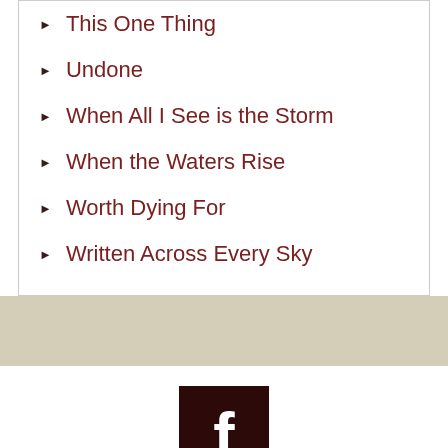This One Thing
Undone
When All I See is the Storm
When the Waters Rise
Worth Dying For
Written Across Every Sky
[Figure (logo): Facebook logo icon — white 'f' on dark brown square background]
Copyright © 2022 Living the Truth. Website by None Equal.